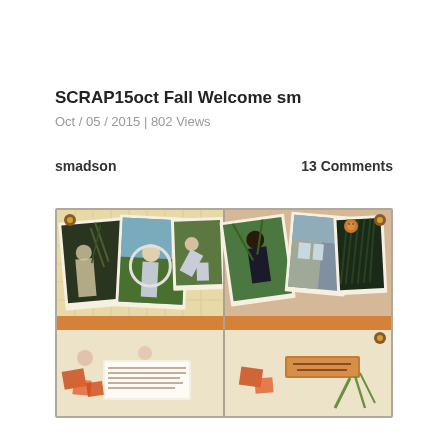SCRAP15oct Fall Welcome sm
Oct / 05 / 2015 | 802 Views
smadson
13 Comments
[Figure (photo): A scrapbook double-page spread showing multiple photographs of people gardening outdoors, with decorative elements including floral patterned paper backgrounds, orange accents, ribbons, and embellishments. Left page shows photos of people with plants/hula hoop. Right page shows photos of plants and outdoor scenes.]